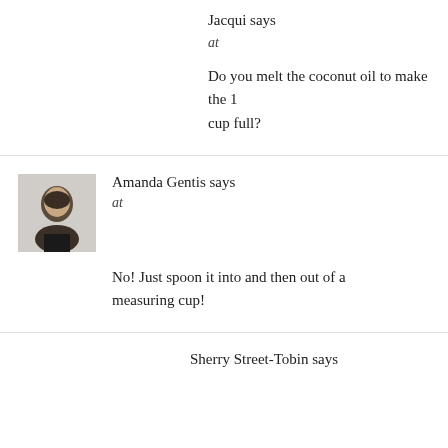Jacqui says
at
Do you melt the coconut oil to make the 1 cup full?
Amanda Gentis says
at
No! Just spoon it into and then out of a measuring cup!
Sherry Street-Tobin says